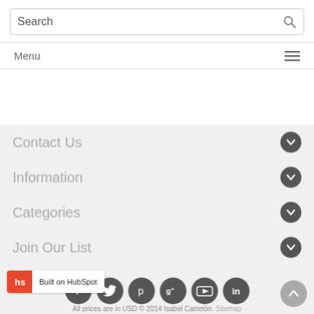Search
Menu
Contact Us
Information
Categories
Join Our List
[Figure (infographic): Social media icons: Facebook, Twitter, Pinterest, Google+, YouTube, LinkedIn]
Built on HubSpot
All prices are in USD © 2014 Isabel Carretón. Sitemap